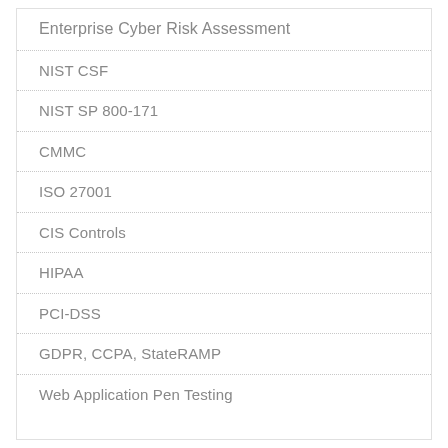Enterprise Cyber Risk Assessment
NIST CSF
NIST SP 800-171
CMMC
ISO 27001
CIS Controls
HIPAA
PCI-DSS
GDPR, CCPA, StateRAMP
Web Application Pen Testing